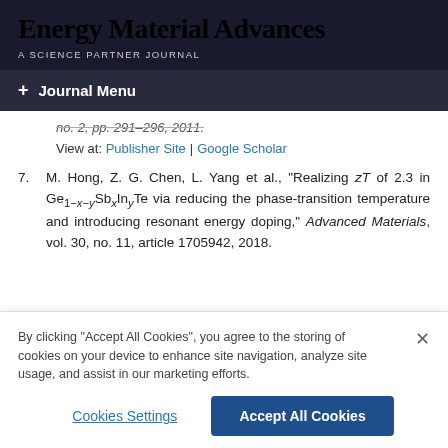Energy Material Advances — A SCIENCE PARTNER JOURNAL
+ Journal Menu
no. 2, pp. 291–296, 2011.
View at: Publisher Site | Google Scholar
7. M. Hong, Z. G. Chen, L. Yang et al., "Realizing zT of 2.3 in Ge1-x-ySbxInyTe via reducing the phase-transition temperature and introducing resonant energy doping," Advanced Materials, vol. 30, no. 11, article 1705942, 2018.
By clicking "Accept All Cookies", you agree to the storing of cookies on your device to enhance site navigation, analyze site usage, and assist in our marketing efforts.
Cookies Settings | Accept All Cookies